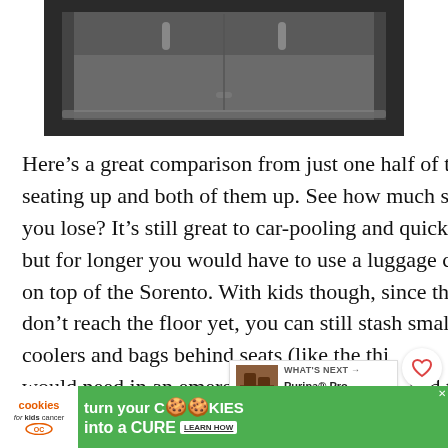[Figure (photo): Car trunk/cargo area viewed from behind, open hatch, dark grey carpet lining, showing available storage space]
Here’s a great comparison from just one half of the seating up and both of them up. See how much space you lose? It’s still great to car-pooling and quick trip but for longer you would have to use a luggage carri on top of the Sorento. With kids though, since their don’t reach the floor yet, you can still stash small coolers and bags behind seats (like the thin would need in an emergency, snacks, toys), and the
[Figure (photo): What's Next thumbnail - Purina Pro Plan BRIG...]
[Figure (infographic): Cookies for Kids Cancer advertisement banner - turn your COOKIES into a CURE LEARN HOW]